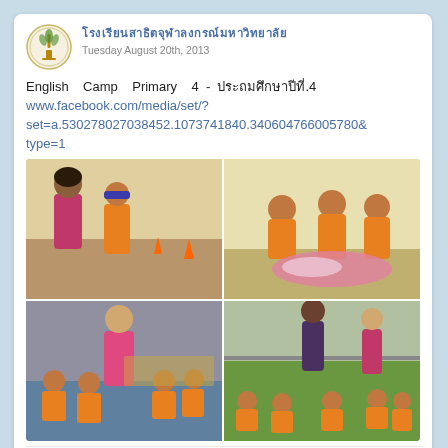[Figure (logo): School circular logo with emblem]
โรงเรียนสาธิตจุฬาลงกรณ์มหาวิทยาลัย
Tuesday August 20th, 2013
English Camp Primary 4 - ประถมศึกษาปีที่.4
www.facebook.com/media/set/?set=a.530278027038452.1073741840.340604766005780&type=1
[Figure (photo): Four photos from English Camp Primary 4 activity: top-left shows a teacher guiding a blindfolded student outdoors; top-right shows students working together on a task on the ground; bottom-left shows a female teacher instructing students seated on floor indoors; bottom-right shows a teacher standing before students seated outdoors on grass.]